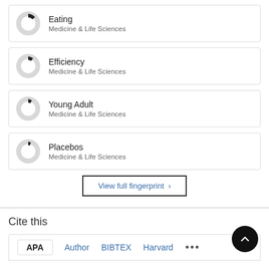[Figure (donut-chart): Donut chart for Eating with small black filled segment, Eating - Medicine & Life Sciences]
[Figure (donut-chart): Donut chart for Efficiency with small black filled segment, Efficiency - Medicine & Life Sciences]
[Figure (donut-chart): Donut chart for Young Adult with small black filled segment, Young Adult - Medicine & Life Sciences]
[Figure (donut-chart): Donut chart for Placebos with small black filled segment, Placebos - Medicine & Life Sciences]
View full fingerprint >
Cite this
APA | Author | BIBTEX | Harvard | ...